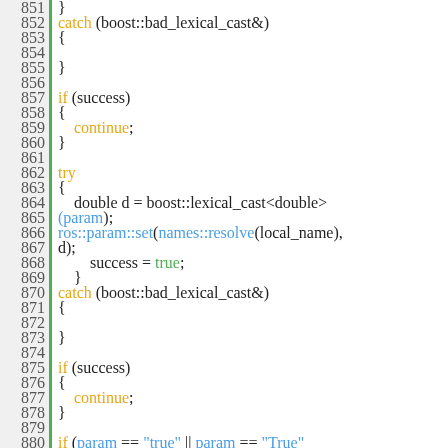[Figure (screenshot): Source code viewer showing C++ code lines 851-880, with line numbers on the left separated by a green vertical bar, syntax highlighted with keywords in orange, identifiers in blue, and values in green.]